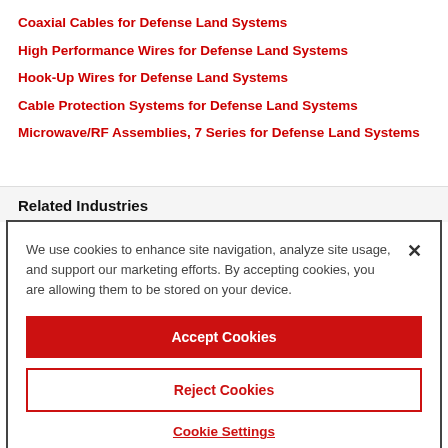Coaxial Cables for Defense Land Systems
High Performance Wires for Defense Land Systems
Hook-Up Wires for Defense Land Systems
Cable Protection Systems for Defense Land Systems
Microwave/RF Assemblies, 7 Series for Defense Land Systems
Related Industries
We use cookies to enhance site navigation, analyze site usage, and support our marketing efforts. By accepting cookies, you are allowing them to be stored on your device.
Accept Cookies
Reject Cookies
Cookie Settings